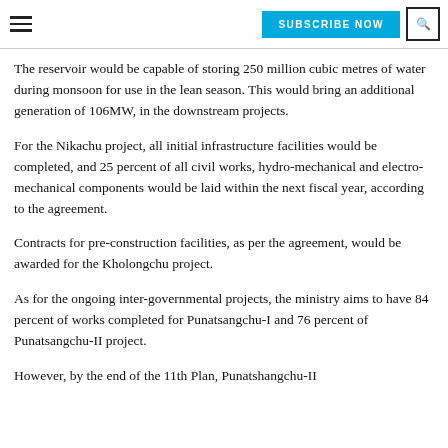SUBSCRIBE NOW
The reservoir would be capable of storing 250 million cubic metres of water during monsoon for use in the lean season. This would bring an additional generation of 106MW, in the downstream projects.
For the Nikachu project, all initial infrastructure facilities would be completed, and 25 percent of all civil works, hydro-mechanical and electro-mechanical components would be laid within the next fiscal year, according to the agreement.
Contracts for pre-construction facilities, as per the agreement, would be awarded for the Kholongchu project.
As for the ongoing inter-governmental projects, the ministry aims to have 84 percent of works completed for Punatsangchu-I and 76 percent of Punatsangchu-II project.
However, by the end of the 11th Plan, Punatshangchu-II